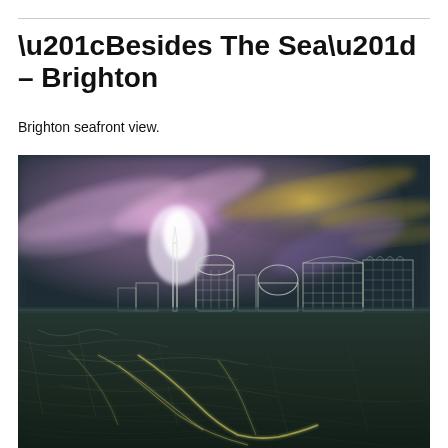“Besides The Sea” – Brighton
Brighton seafront view.
[Figure (photo): A digitally processed/artistic photograph of Brighton seafront. The image shows an edge-lit or neon-effect rendering of the Brighton skyline including a tall tower and buildings, set against a dramatic sky with swirling purple, pink and yellow clouds. The foreground shows a textured beachfront/grass area with glowing white filament-like lines on a dark teal/green background.]